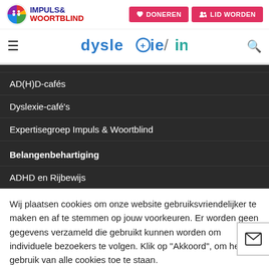[Figure (logo): Impuls & Woortblind logo with colorful circle icon and bold text]
[Figure (logo): dyslexie/info website logo in colorful rounded font]
AD(H)D-cafés
Dyslexie-café's
Expertisegroep Impuls & Woortblind
Belangenbehartiging
ADHD en Rijbewijs
Wij plaatsen cookies om onze website gebruiksvriendelijker te maken en af te stemmen op jouw voorkeuren. Er worden geen gegevens verzameld die gebruikt kunnen worden om individuele bezoekers te volgen. Klik op "Akkoord", om het gebruik van alle cookies toe te staan.
Instellingen
Akkoord